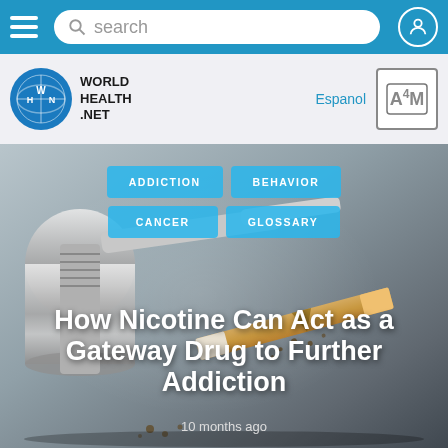search
[Figure (logo): World Health Net logo with globe icon and WHN initials]
Espanol
[Figure (logo): A4M badge/logo]
[Figure (photo): Close-up photo of vaping device and broken cigarette on grey background]
ADDICTION
BEHAVIOR
CANCER
GLOSSARY
How Nicotine Can Act as a Gateway Drug to Further Addiction
10 months ago